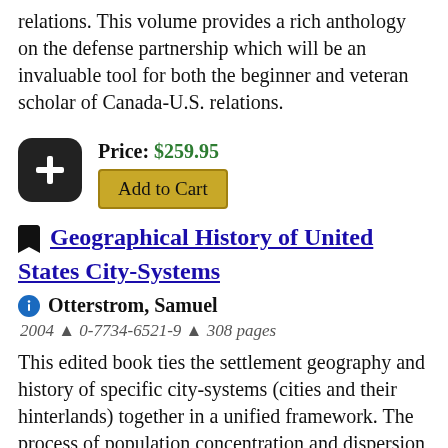relations. This volume provides a rich anthology on the defense partnership which will be an invaluable tool for both the beginner and veteran scholar of Canada-U.S. relations.
Price: $259.95
Add to Cart
Geographical History of United States City-Systems
Otterstrom, Samuel
2004 ▲ 0-7734-6521-9 ▲ 308 pages
This edited book ties the settlement geography and history of specific city-systems (cities and their hinterlands) together in a unified framework. The process of population concentration and dispersion within each city system is